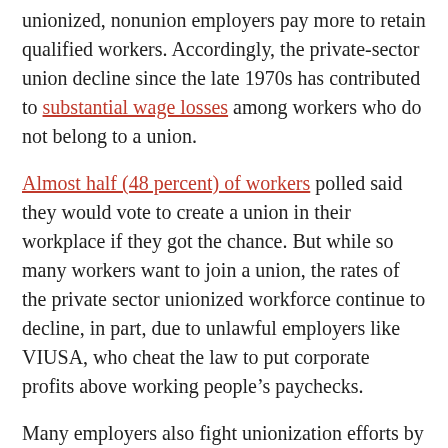unionized, nonunion employers pay more to retain qualified workers. Accordingly, the private-sector union decline since the late 1970s has contributed to substantial wage losses among workers who do not belong to a union.
Almost half (48 percent) of workers polled said they would vote to create a union in their workplace if they got the chance. But while so many workers want to join a union, the rates of the private sector unionized workforce continue to decline, in part, due to unlawful employers like VIUSA, who cheat the law to put corporate profits above working people’s paychecks.
Many employers also fight unionization efforts by hiring professional anti-union consultants to bust their employees’ organizing drives with sophisticated anti-union campaigns—sometimes spending hundreds of thousands of dollars to keep their employees from joining a union.